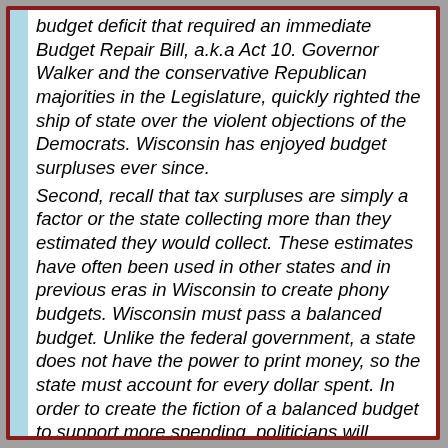budget deficit that required an immediate Budget Repair Bill, a.k.a Act 10. Governor Walker and the conservative Republican majorities in the Legislature, quickly righted the ship of state over the violent objections of the Democrats. Wisconsin has enjoyed budget surpluses ever since. Second, recall that tax surpluses are simply a factor or the state collecting more than they estimated they would collect. These estimates have often been used in other states and in previous eras in Wisconsin to create phony budgets. Wisconsin must pass a balanced budget. Unlike the federal government, a state does not have the power to print money, so the state must account for every dollar spent. In order to create the fiction of a balanced budget to support more spending, politicians will inflate tax revenue estimates for the budget. Then, when actual tax revenues fall short of the inflated estimates, the same politicians will enact new taxes or borrowing to